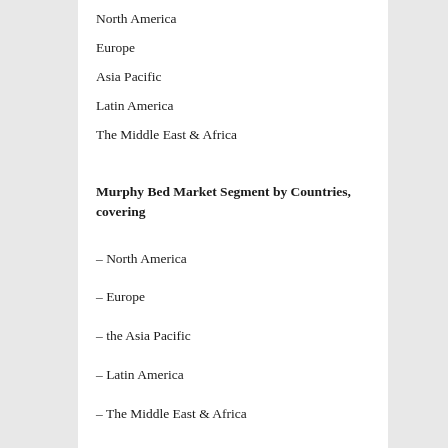North America
Europe
Asia Pacific
Latin America
The Middle East & Africa
Murphy Bed Market Segment by Countries, covering
– North America
– Europe
– the Asia Pacific
– Latin America
– The Middle East & Africa